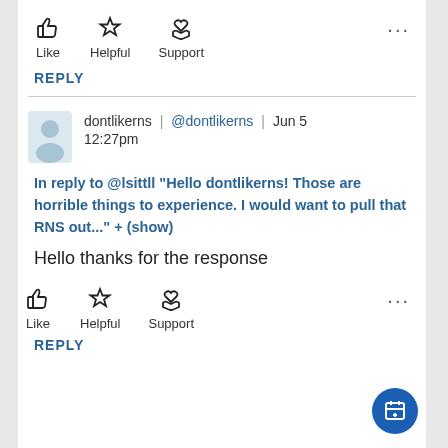[Figure (infographic): Row of action icons: thumbs-up Like, star Helpful, hand-heart Support, and ellipsis more-options]
REPLY
[Figure (infographic): Horizontal divider line]
dontlikerns | @dontlikerns | Jun 5 12:27pm
In reply to @lsittll "Hello dontlikerns! Those are horrible things to experience. I would want to pull that RNS out..." + (show)
Hello thanks for the response
[Figure (infographic): Row of action icons: thumbs-up Like, star Helpful, hand-heart Support, and ellipsis more-options]
REPLY